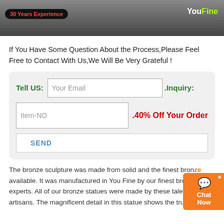[Figure (photo): Top banner image with dark background showing brush/sculpture texture, '30 Years Experience' badge on left, YouFine logo on right]
If You Have Some Question About the Process,Please Feel Free to Contact With Us,We Will Be Very Grateful !
Tell US: [Your Email] .Inquiry: [Item-NO] .40% Off Your Order [SEND button]
The bronze sculpture was made from solid and the finest bronze available. It was manufactured in You Fine by our finest bronze experts. All of our bronze statues were made by these talented artisans. The magnificent detail in this statue shows the true artist